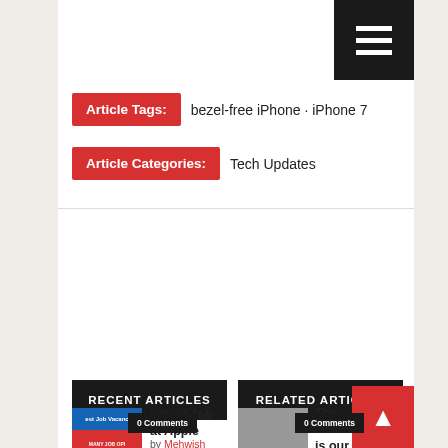Article Tags: bezel-free iPhone · iPhone 7
Article Categories: Tech Updates
RECENT ARTICLES
RELATED ARTICLES
0 Comments
Latest Job at Apple
by Mehwish Hayat
0 Comments
The iPhone 7 is our fastest phone of